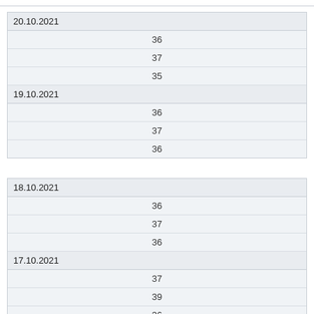| 20.10.2021 |
| 36 |
| 37 |
| 35 |
| 19.10.2021 |
| 36 |
| 37 |
| 36 |
| 18.10.2021 |
| 36 |
| 37 |
| 36 |
| 17.10.2021 |
| 37 |
| 39 |
| 36 |
| 16.10.2021 |